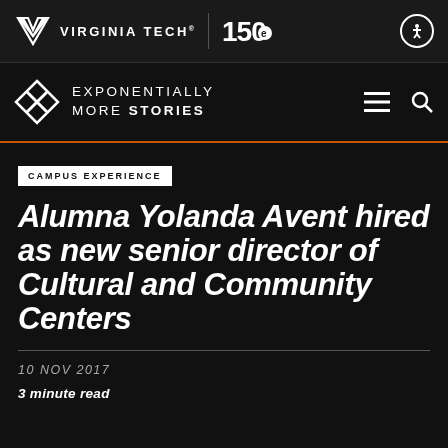VIRGINIA TECH® | 150 [anniversary logo]
EXPONENTIALLY MORE STORIES
CAMPUS EXPERIENCE
Alumna Yolanda Avent hired as new senior director of Cultural and Community Centers
10 NOV 2017
3 minute read